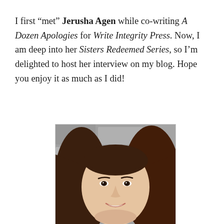I first “met” Jerusha Agen while co-writing A Dozen Apologies for Write Integrity Press. Now, I am deep into her Sisters Redeemed Series, so I’m delighted to host her interview on my blog. Hope you enjoy it as much as I did!
[Figure (photo): Headshot photo of Jerusha Agen, a young woman with long dark brown hair, smiling, against a stone wall background.]